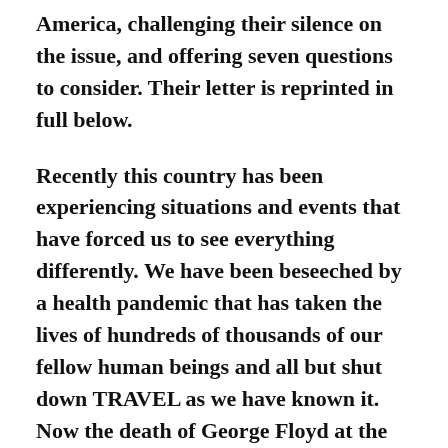America, challenging their silence on the issue, and offering seven questions to consider. Their letter is reprinted in full below.
Recently this country has been experiencing situations and events that have forced us to see everything differently. We have been beseeched by a health pandemic that has taken the lives of hundreds of thousands of our fellow human beings and all but shut down TRAVEL as we have known it. Now the death of George Floyd at the hands of the Minneapolis police officers has refocused the world's awareness of another deadly pandemic; blatant and systemic RACISM.